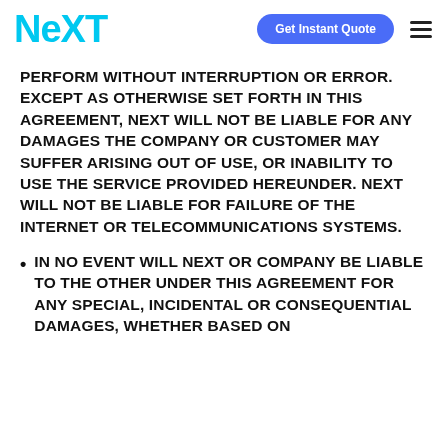NEXT | Get Instant Quote
PERFORM WITHOUT INTERRUPTION OR ERROR. EXCEPT AS OTHERWISE SET FORTH IN THIS AGREEMENT, NEXT WILL NOT BE LIABLE FOR ANY DAMAGES THE COMPANY OR CUSTOMER MAY SUFFER ARISING OUT OF USE, OR INABILITY TO USE THE SERVICE PROVIDED HEREUNDER. NEXT WILL NOT BE LIABLE FOR FAILURE OF THE INTERNET OR TELECOMMUNICATIONS SYSTEMS.
IN NO EVENT WILL NEXT OR COMPANY BE LIABLE TO THE OTHER UNDER THIS AGREEMENT FOR ANY SPECIAL, INCIDENTAL OR CONSEQUENTIAL DAMAGES, WHETHER BASED ON